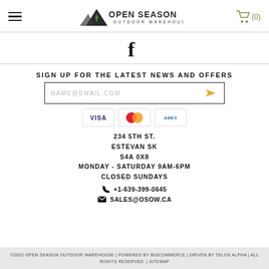Open Season Outdoor Warehouse — navigation header with logo and cart
[Figure (logo): Open Season Outdoor Warehouse logo with mountain and tree illustration]
[Figure (logo): Facebook icon (f)]
SIGN UP FOR THE LATEST NEWS AND OFFERS
[Figure (screenshot): Email input field with placeholder NAME@EMAIL.COM and send (paper plane) button]
[Figure (infographic): Payment method icons: VISA, Mastercard, Amex]
234 5TH ST. ESTEVAN SK S4A 0X8 MONDAY - SATURDAY 9AM-6PM CLOSED SUNDAYS
+1-639-399-0645
SALES@OSOW.CA
©2022 OPEN SEASON OUTDOOR WAREHOUSE | POWERED BY BIGCOMMERCE | DRIVEN BY TELOS ALPHA | ALL RIGHTS RESERVED. | SITEMAP